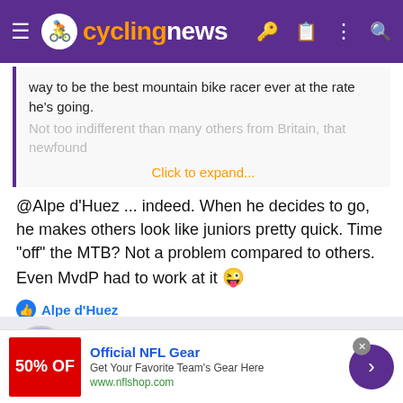cyclingnews
way to be the best mountain bike racer ever at the rate he's going. Not too indifferent than many others from Britain, that newfound
Click to expand...
@Alpe d'Huez ... indeed. When he decides to go, he makes others look like juniors pretty quick. Time "off" the MTB? Not a problem compared to others. Even MvdP had to work at it 😜
Alpe d'Huez
Dekker_Tifosi
Mar 13, 2009 · 28,701 · 1,886 · 25,680
[Figure (other): Row of badge/achievement icons for user Dekker_Tifosi]
Official NFL Gear
Get Your Favorite Team's Gear Here
www.nflshop.com